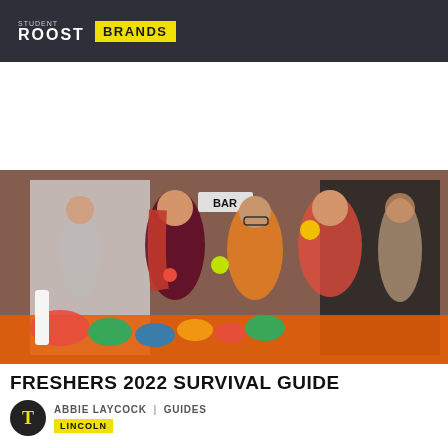STUDENT ROOST BRANDS
[Figure (photo): Group of young people juggling colorful balls at a freshers event inside a venue with brick walls and a bar sign in the background. Colorful items on a table in the foreground.]
FRESHERS 2022 SURVIVAL GUIDE
ABBIE LAYCOCK | GUIDES
LINCOLN